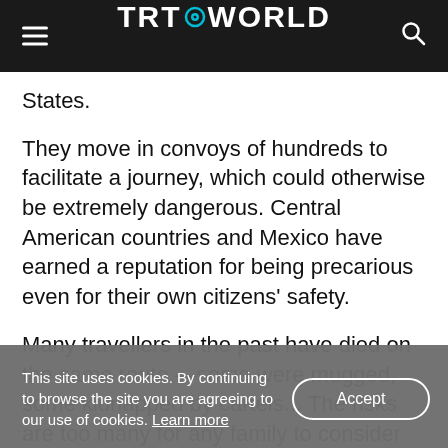TRT WORLD
States.
They move in convoys of hundreds to facilitate a journey, which could otherwise be extremely dangerous. Central American countries and Mexico have earned a reputation for being precarious even for their own citizens' safety.
Many travellers in the past have died on the same route —some were mugged, some kidnapped by cartels... The risks are too many for any family to consider undertaking this journey entirely on their
This site uses cookies. By continuing to browse the site you are agreeing to our use of cookies. Learn more